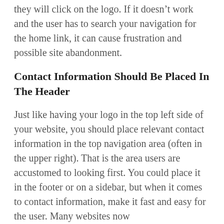they will click on the logo. If it doesn't work and the user has to search your navigation for the home link, it can cause frustration and possible site abandonment.
Contact Information Should Be Placed In The Header
Just like having your logo in the top left side of your website, you should place relevant contact information in the top navigation area (often in the upper right). That is the area users are accustomed to looking first. You could place it in the footer or on a sidebar, but when it comes to contact information, make it fast and easy for the user. Many websites now